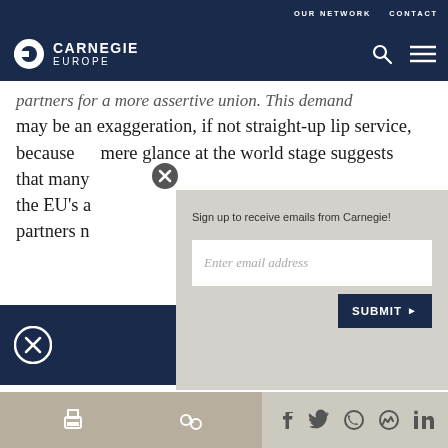OUR NETWORK   CONTACT
[Figure (logo): Carnegie Europe logo with white circle icon and text CARNEGIE EUROPE on dark navy background, with search and menu icons on the right]
partners for a more assertive union. This demand may be an exaggeration, if not straight-up lip service, because a mere glance at the world stage suggests that many ... the EU's a... partners n...
Sign up to receive emails from Carnegie!
Enter email address
SUBMIT ▶
[Figure (screenshot): Bottom share/action bar with print, link, Facebook, Twitter, WhatsApp, Messenger, LinkedIn icons]